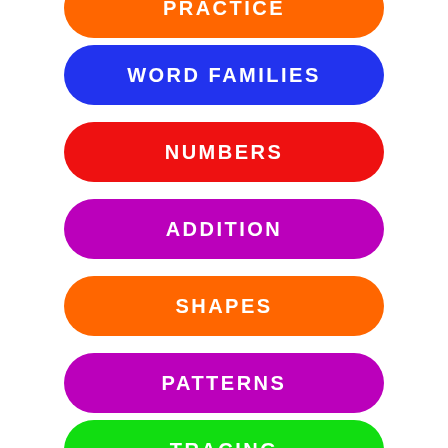WORD FAMILIES
NUMBERS
ADDITION
SHAPES
PATTERNS
TRACING
I SPY